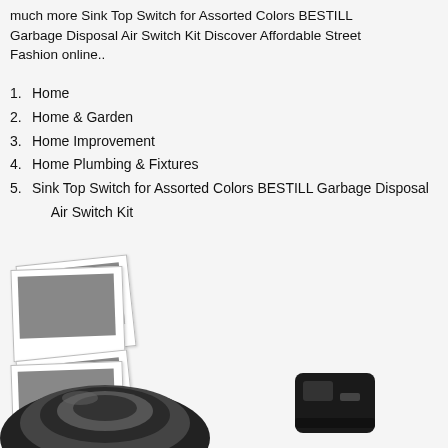much more Sink Top Switch for Assorted Colors BESTILL Garbage Disposal Air Switch Kit Discover Affordable Street Fashion online..
1. Home
2. Home & Garden
3. Home Improvement
4. Home Plumbing & Fixtures
5. Sink Top Switch for Assorted Colors BESTILL Garbage Disposal Air Switch Kit
[Figure (photo): Two overlapping polaroid-style photo placeholders with grey image areas, positioned in the lower-left section]
[Figure (photo): Product photo of a circular black rubber hose/tubing coil at the bottom left, and a black rectangular component at the bottom right]